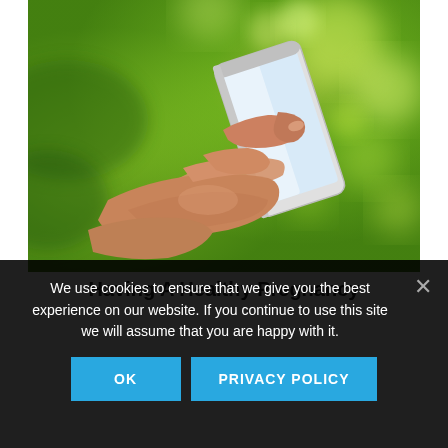[Figure (photo): A pair of hands holding a smartphone outdoors with a bright green bokeh background. The fingers are tapping the screen of the phone.]
Having A Healthy Pregnancy
We use cookies to ensure that we give you the best experience on our website. If you continue to use this site we will assume that you are happy with it.